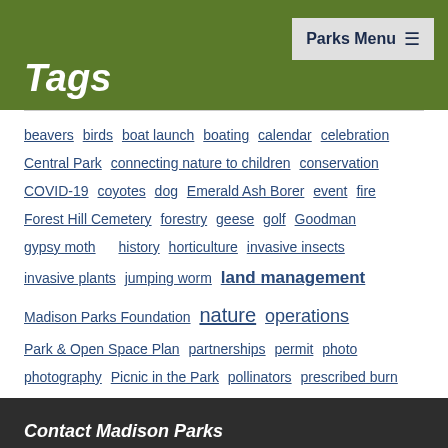Parks Menu
Tags
beavers birds boat launch boating calendar celebration Central Park connecting nature to children conservation COVID-19 coyotes dog Emerald Ash Borer event fire Forest Hill Cemetery forestry geese golf Goodman gypsy moth history horticulture invasive insects invasive plants jumping worm land management Madison Parks Foundation nature operations Park & Open Space Plan partnerships permit photo photography Picnic in the Park pollinators prescribed burn public amplification recreation regenerate habitat renovation skatepark staff treatment trees volunteers wildlife wildlife management winter
Contact Madison Parks